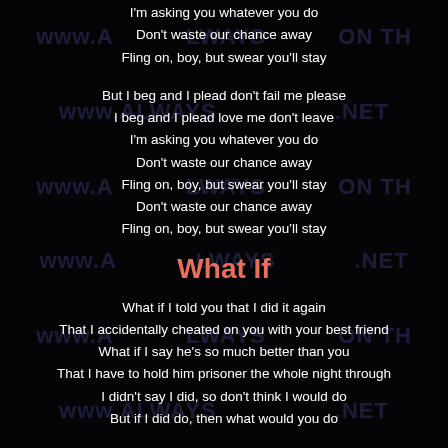I'm asking you whatever you do
Don't waste our chance away
Fling on, boy, but swear you'll stay
But I beg and I plead don't fail me please
I beg and I plead love me don't leave
I'm asking you whatever you do
Don't waste our chance away
Fling on, boy, but swear you'll stay
Don't waste our chance away
Fling on, boy, but swear you'll stay
What If
What if I told you that I did it again
That I accidentally cheated on you with your best friend
What if I say he's so much better than you
That I have to hold him prisoner the whole night through
I didn't say I did, so don't think I would do
But if I did do, then what would you do
What if I told you that I lied from the start
That I don't actually have a master in modern art
What if I told you that I can't stand your mum
That I think your brother's hot and your sister's dumb
I didn't say I did, so don't think I would do
But if I did do, are we through